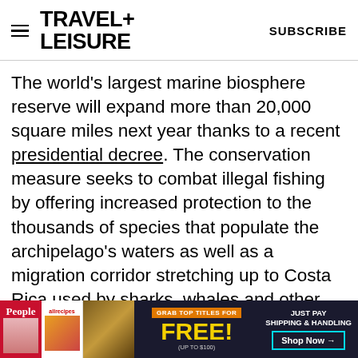TRAVEL+ LEISURE  SUBSCRIBE
The world's largest marine biosphere reserve will expand more than 20,000 square miles next year thanks to a recent presidential decree. The conservation measure seeks to combat illegal fishing by offering increased protection to the thousands of species that populate the archipelago's waters as well as a migration corridor stretching up to Costa Rica used by sharks, whales and other sea life. Come January, travelers can cruise this UNESCO-protected region on new nine-day adventures from Hurtigruten Expeditions and outfitter Metropolitan Touring aboard the 90-guest
[Figure (screenshot): Advertisement banner: magazine subscription offer showing People and allrecipes magazine covers, 'GRAB TOP TITLES FOR FREE! (UP TO $100)' text, 'JUST PAY SHIPPING & HANDLING' with 'Shop Now' button, dark blue background.]